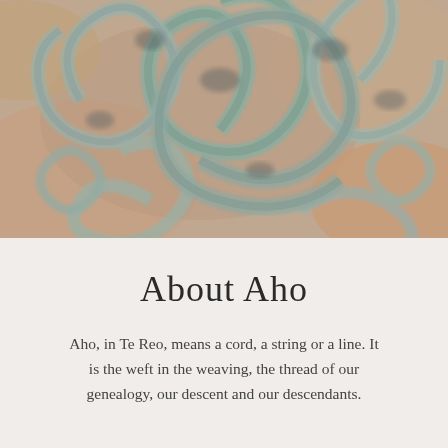[Figure (photo): Close-up photograph of a textured woven or carved surface with swirling spiral patterns in muted teal, grey, and warm earthy pink/brown tones, resembling traditional Māori textile or carved artwork.]
About Aho
Aho, in Te Reo, means a cord, a string or a line. It is the weft in the weaving, the thread of our genealogy, our descent and our descendants.